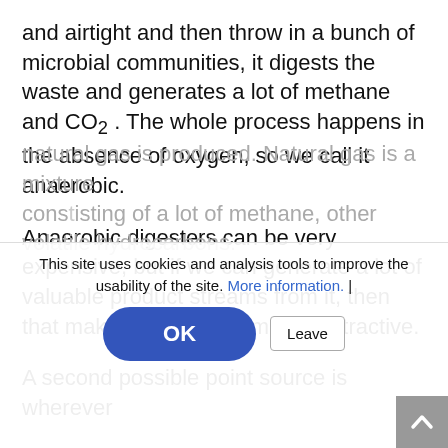and airtight and then throw in a bunch of microbial communities, it digests the waste and generates a lot of methane and CO₂ . The whole process happens in the absence of oxygen, so we call it anaerobic.
Anaerobic digesters can be very expensive, but if we can generate a lot of valuable product streams from it, then that makes them economically attractive.
A second possible point source is wherever natural gas is produced. Natural gas is a mixture consisting of a lot of methane, other volatile hydrocarbons.
Q. So what is the hard part of this project - is